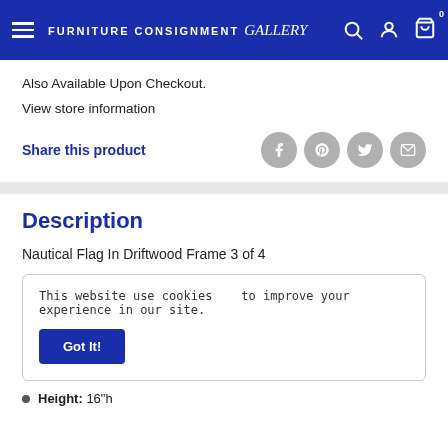Furniture Consignment Gallery
Also Available Upon Checkout.
View store information
Share this product
Description
Nautical Flag In Driftwood Frame 3 of 4
This website use cookies   to improve your experience in our site.
Height: 16"h